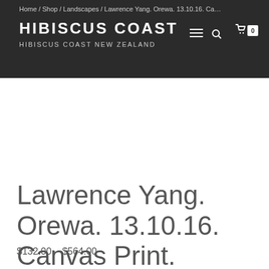Home / Shop / Landscapes / Lawrence Yang. Orewa. 13.10.16. Canvas Print.
HIBISCUS COAST
HIBISCUS COAST NEW ZEALAND
Lawrence Yang. Orewa. 13.10.16. Canvas Print.
$132.00 – $564.00